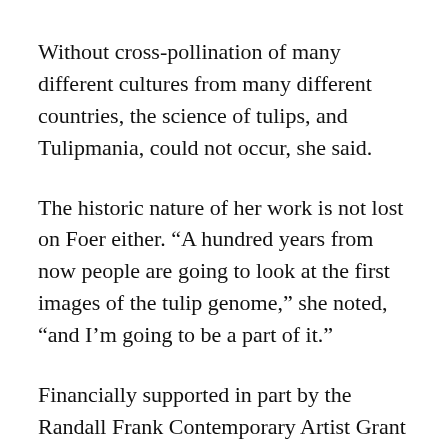Without cross-pollination of many different cultures from many different countries, the science of tulips, and Tulipmania, could not occur, she said.
The historic nature of her work is not lost on Foer either. “A hundred years from now people are going to look at the first images of the tulip genome,” she noted, “and I’m going to be a part of it.”
Financially supported in part by the Randall Frank Contemporary Artist Grant Program and the Giving Spirit Foundation Unicorn Barn Project, Tulipmania will be on display in the CBC...